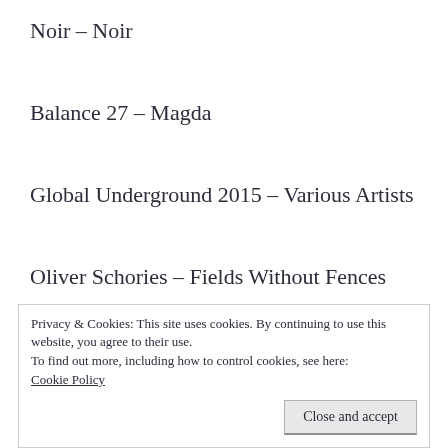Noir – Noir
Balance 27 – Magda
Global Underground 2015 – Various Artists
Oliver Schories – Fields Without Fences
MDR Compilation – Various Artists
Omid 16B – Reincarnations
Privacy & Cookies: This site uses cookies. By continuing to use this website, you agree to their use.
To find out more, including how to control cookies, see here: Cookie Policy
Close and accept